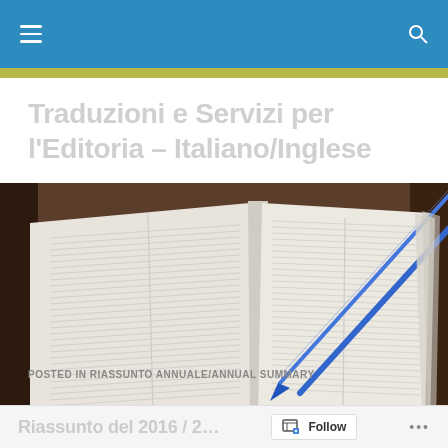Navigation bar with hamburger menu and search icon
Traduzioni e Servizi per l'Editoria – Italiano/Inglese
[Figure (photo): Open dictionary/reference book lying on a wooden table with a blue pen resting on its pages]
POSTED IN RIASSUNTO ANNUALE/ANNUAL SUMMARY
Riassunto del 2016 / 2…
Follow